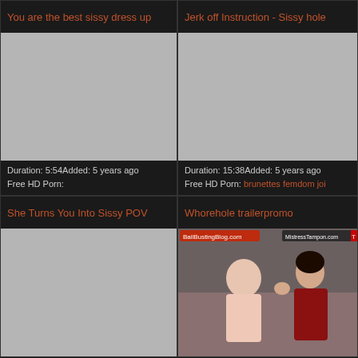You are the best sissy dress up
[Figure (photo): Gray placeholder thumbnail for video]
Duration: 5:54Added: 5 years ago
Free HD Porn:
Jerk off Instruction - Sissy hole
[Figure (photo): Gray placeholder thumbnail for video]
Duration: 15:38Added: 5 years ago
Free HD Porn: brunettes femdom joi
She Turns You Into Sissy POV
[Figure (photo): Gray placeholder thumbnail for video]
Whorehole trailerpromo
[Figure (photo): Screenshot of a video showing two people, one in lingerie]